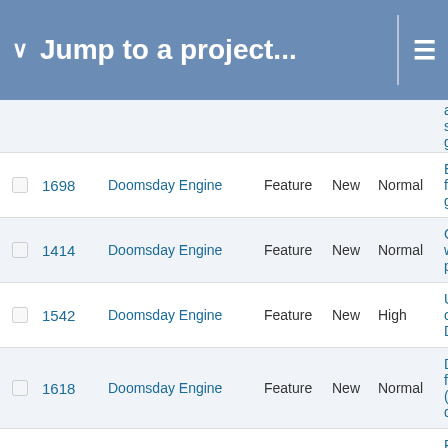Jump to a project...
|  | # | Project | Type | Status | Priority | Subject |
| --- | --- | --- | --- | --- | --- | --- |
|  |  |  |  |  |  | animation saved ga |
|  | 1698 | Doomsday Engine | Feature | New | Normal | Editor for generator |
|  | 1414 | Doomsday Engine | Feature | New | Normal | Generate when tou plane |
|  | 1542 | Doomsday Engine | Feature | New | High | Use hit or Damage |
|  | 1618 | Doomsday Engine | Feature | New | Normal | Decoratio for game (power u damage, |
|  | 1430 | Doomsday Engine | Feature | New | Normal | Particle g decoratio particles wall) |
|  | 1336 | Doomsday Engine | Feature | New | Normal | Random particle d |
|  | 1335 | Doomsday Engine | Feature | New | Normal | Random types |
|  | 1314 | Doomsday Engine | Feature | New | Normal | Particle s affected b |